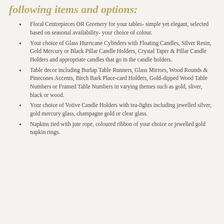following items and options:
Floral Centrepieces OR Greenery for your tables- simple yet elegant, selected based on seasonal availability- your choice of colour.
Your choice of Glass Hurricane Cylinders with Floating Candles, Silver Resin, Gold Mercury or Black Pillar Candle Holders, Crystal Taper & Pillar Candle Holders and appropriate candles that go in the candle holders.
Table decor including Burlap Table Runners, Glass Mirrors, Wood Rounds & Pinecones Accents, Birch Bark Place-card Holders, Gold-dipped Wood Table Numbers or Framed Table Numbers in varying themes such as gold, sliver, black or wood.
Your choice of Votive Candle Holders with tea-lights including jewelled silver, gold mercury glass, champagne gold or clear glass.
Napkins tied with jute rope, coloured ribbon of your choice or jewelled gold napkin rings.